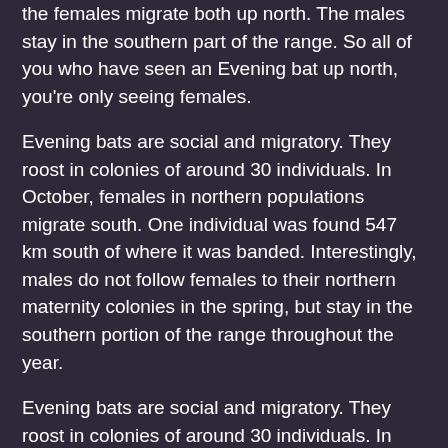the females migrate both up north. The males stay in the southern part of the range. So all of you who have seen an Evening bat up north, you're only seeing females.
Evening bats are social and migratory. They roost in colonies of around 30 individuals. In October, females in northern populations migrate south. One individual was found 547 km south of where it was banded. Interestingly, males do not follow females to their northern maternity colonies in the spring, but stay in the southern portion of the range throughout the year.
Evening bats are social and migratory. They roost in colonies of around 30 individuals. In October, females in northern populations migrate south. One individual was found 547 km south of where it was banded. Interestingly, males do not follow females to their northern maternity colonies in the spring, but stay in the southern portion of the range throughout the year.
Evening bats are social and migratory. They roost in colonies of around 30 individuals. In October, females